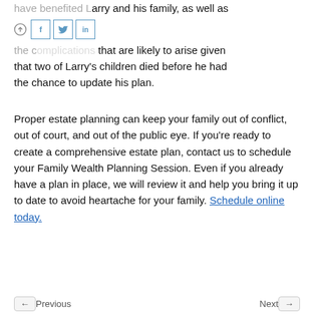have benefited Larry and his family, as well as the complications that are likely to arise given that two of Larry's children died before he had the chance to update his plan.
Proper estate planning can keep your family out of conflict, out of court, and out of the public eye. If you're ready to create a comprehensive estate plan, contact us to schedule your Family Wealth Planning Session. Even if you already have a plan in place, we will review it and help you bring it up to date to avoid heartache for your family. Schedule online today.
Previous  Next